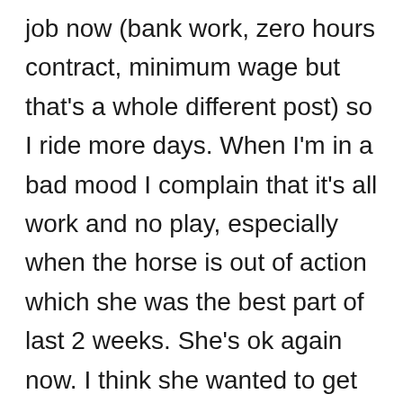job now (bank work, zero hours contract, minimum wage but that's a whole different post) so I ride more days. When I'm in a bad mood I complain that it's all work and no play, especially when the horse is out of action which she was the best part of last 2 weeks. She's ok again now. I think she wanted to get out of the dressage competition we entered for Monday! C doesn't mind his life being this way and that annoys me too! He doesn't seem to need anything to be content and